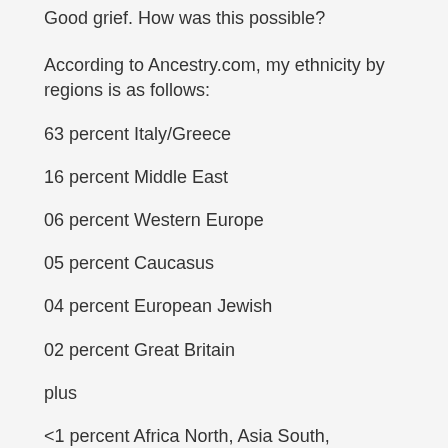Good grief. How was this possible?
According to Ancestry.com, my ethnicity by regions is as follows:
63 percent Italy/Greece
16 percent Middle East
06 percent Western Europe
05 percent Caucasus
04 percent European Jewish
02 percent Great Britain
plus
<1 percent Africa North, Asia South, Finland/Northwest Russia, Iberian Peninsula, and Scandinavia.